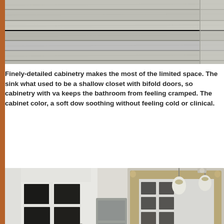[Figure (photo): Close-up photo of gray wood-grain tile or paneling on a wall/ceiling, showing horizontal lines and texture in muted gray tones.]
Finely-detailed cabinetry makes the most of the limited space. The sink what used to be a shallow closet with bifold doors, so cabinetry with va keeps the bathroom from feeling cramped. The cabinet color, a soft dow soothing without feeling cold or clinical.
[Figure (photo): Interior photo of a bathroom showing a white-trimmed French door with multiple glass panes on the left, an ornate gold/bronze framed mirror on the right, pendant light fixtures hanging from above, a cabinet panel visible in the middle background, and a marble countertop vanity at the bottom right.]